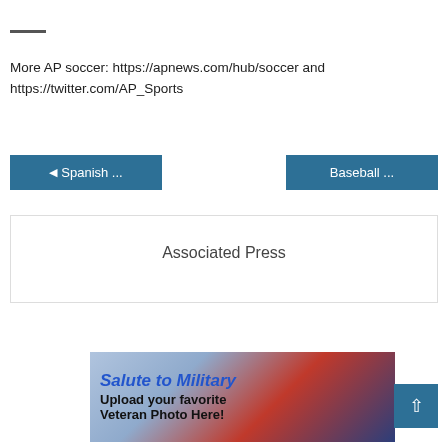More AP soccer: https://apnews.com/hub/soccer and https://twitter.com/AP_Sports
◄ Spanish ...
Baseball ...
Associated Press
[Figure (illustration): Salute to Military advertisement banner with US flag background. Text: 'Salute to Military Upload your favorite Veteran Photo Here!']